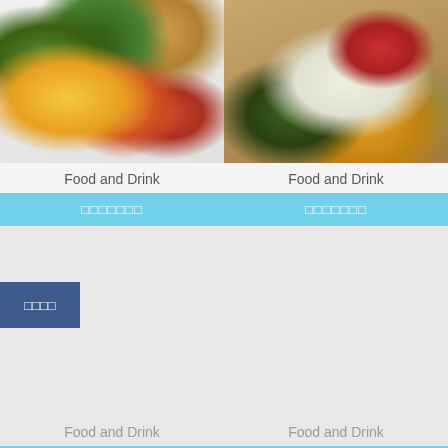[Figure (photo): Breakfast food tray with scrambled eggs, sausages, vegetables, salad, and soup]
[Figure (photo): Rice bowl with vegetables, pickled items, and toppings]
Food and Drink
Food and Drink
□□□□
□□□□□□□
□□□□□□□
[Figure (other): Empty food card placeholder]
[Figure (other): Empty food card placeholder]
Food and Drink
Food and Drink
□□□□□□□
□□□□□□□